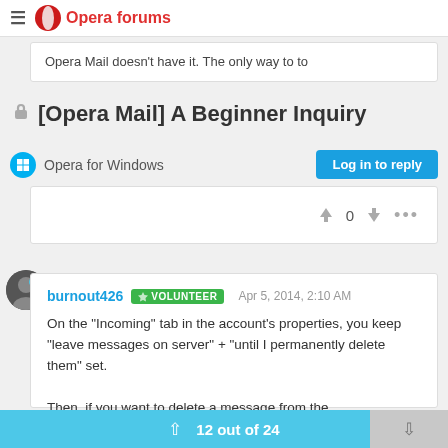Opera forums
Opera Mail doesn't have it. The only way to to
[Opera Mail] A Beginner Inquiry
Opera for Windows
Log in to reply
0
burnout426 VOLUNTEER Apr 5, 2014, 2:10 AM
On the "Incoming" tab in the account's properties, you keep "leave messages on server" + "until I permanently delete them" set.

Then, if you want to delete a message from the
12 out of 24